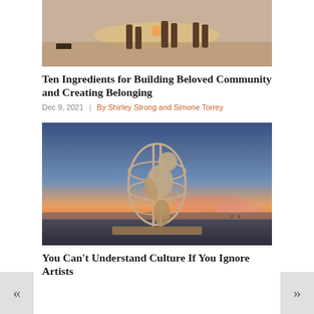[Figure (photo): Sepia-toned photo of people standing on a dry lakebed (playa) with a setting/rising sun on the horizon]
Ten Ingredients for Building Beloved Community and Creating Belonging
Dec 9, 2021  |  By Shirley Strong and Simone Torrey
[Figure (photo): Photo of a large sculpture of a humanoid figure crouching inside a globe-like cage structure, photographed at sunset with colorful sky]
You Can't Understand Culture If You Ignore Artists